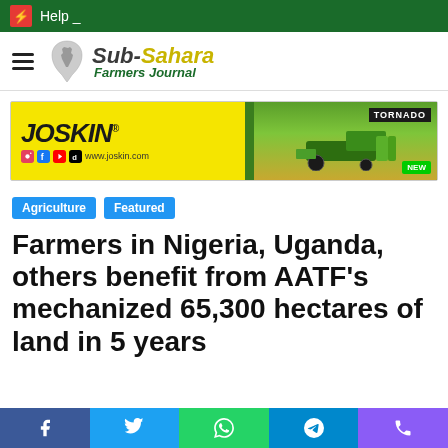Help _
[Figure (logo): Sub-Sahara Farmers Journal logo with Africa map silhouette]
[Figure (photo): JOSKIN TORNADO advertisement banner showing a green tractor baling hay in a field]
Agriculture
Featured
Farmers in Nigeria, Uganda, others benefit from AATF's mechanized 65,300 hectares of land in 5 years